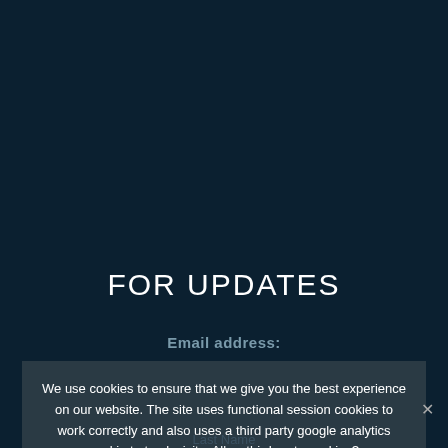FOR UPDATES
Email address:
We use cookies to ensure that we give you the best experience on our website. The site uses functional session cookies to work correctly and also uses a third party google analytics cookie to track visits. Allow third party cookies?
Ok   No   Read more
Last Name